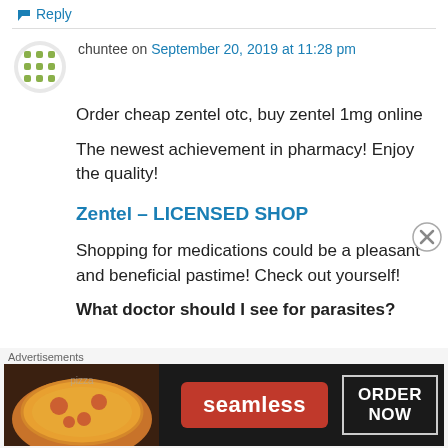↳ Reply
chuntee on September 20, 2019 at 11:28 pm
Order cheap zentel otc, buy zentel 1mg online
The newest achievement in pharmacy! Enjoy the quality!
Zentel – LICENSED SHOP
Shopping for medications could be a pleasant and beneficial pastime! Check out yourself!
What doctor should I see for parasites?
Advertisements
[Figure (other): Seamless food delivery advertisement banner with pizza image, Seamless logo button, and ORDER NOW button on dark background]